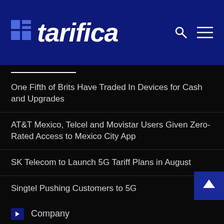[Figure (logo): Tarifica logo with blue grid icon and white italic bold text 'tarifica' on dark blue background header with search and hamburger menu icons]
One Fifth of Brits Have Traded In Devices for Cash and Upgrades
AT&T Mexico, Telcel and Movistar Users Given Zero-Rated Access to Mexico City App
SK Telecom to Launch 5G Tariff Plans in August
Singtel Pushing Customers to 5G
Company
Solutions